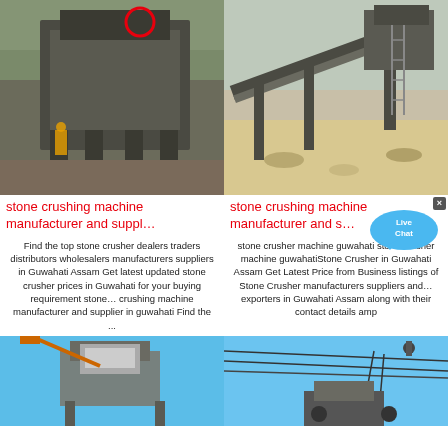[Figure (photo): Stone crushing machine at a construction site with red circle marker]
[Figure (photo): Stone crushing machine conveyor belt at a quarry site]
stone crushing machine manufacturer and suppl…
stone crushing machine manufacturer and s…
Find the top stone crusher dealers traders distributors wholesalers manufacturers suppliers in Guwahati Assam Get latest updated stone crusher prices in Guwahati for your buying requirement stone… crushing machine manufacturer and supplier in guwahati Find the ...
stone crusher machine guwahati stone crusher machine guwahatiStone Crusher in Guwahati Assam Get Latest Price from Business listings of Stone Crusher manufacturers suppliers and… exporters in Guwahati Assam along with their contact details amp
[Figure (photo): Stone crushing machine structure against blue sky]
[Figure (photo): Stone crushing conveyor equipment against blue sky]